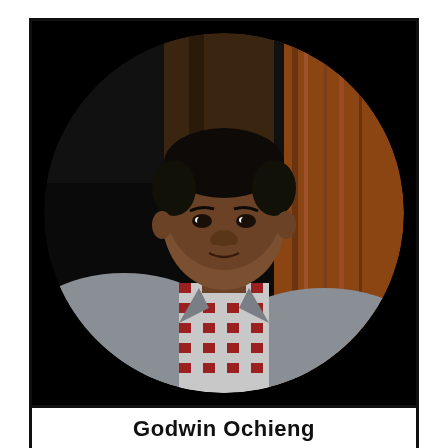[Figure (photo): Circular portrait photo of a young man wearing a grey blazer over a red and white checkered shirt, set against a dark background with wooden elements visible. The photo is cropped in a circle shape inside a square bordered frame.]
Godwin Ochieng